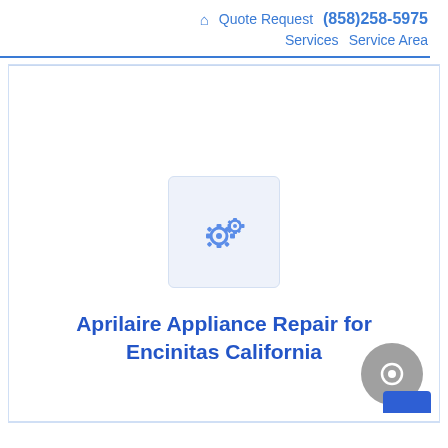🏠 Quote Request (858)258-5975 Services Service Area
[Figure (illustration): Gear/settings icon in a light blue rounded square box]
Aprilaire Appliance Repair for Encinitas California